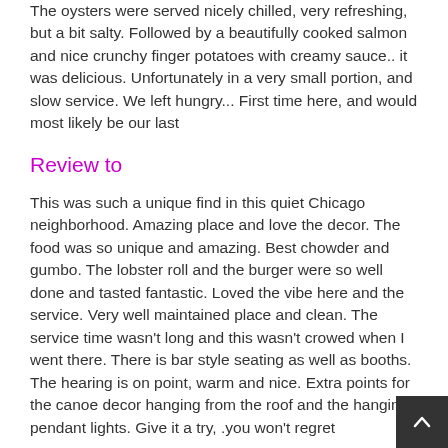The oysters were served nicely chilled, very refreshing, but a bit salty. Followed by a beautifully cooked salmon and nice crunchy finger potatoes with creamy sauce.. it was delicious. Unfortunately in a very small portion, and slow service. We left hungry... First time here, and would most likely be our last
Review to
This was such a unique find in this quiet Chicago neighborhood. Amazing place and love the decor. The food was so unique and amazing. Best chowder and gumbo. The lobster roll and the burger were so well done and tasted fantastic. Loved the vibe here and the service. Very well maintained place and clean. The service time wasn't long and this wasn't crowed when I went there. There is bar style seating as well as booths. The hearing is on point, warm and nice. Extra points for the canoe decor hanging from the roof and the hanging pendant lights. Give it a try, .you won't regret